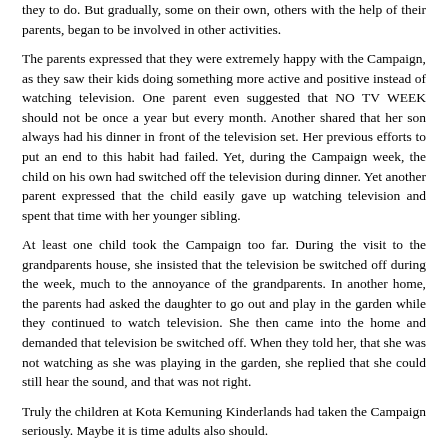they to do. But gradually, some on their own, others with the help of their parents, began to be involved in other activities.
The parents expressed that they were extremely happy with the Campaign, as they saw their kids doing something more active and positive instead of watching television. One parent even suggested that NO TV WEEK should not be once a year but every month. Another shared that her son always had his dinner in front of the television set. Her previous efforts to put an end to this habit had failed. Yet, during the Campaign week, the child on his own had switched off the television during dinner. Yet another parent expressed that the child easily gave up watching television and spent that time with her younger sibling.
At least one child took the Campaign too far. During the visit to the grandparents house, she insisted that the television be switched off during the week, much to the annoyance of the grandparents. In another home, the parents had asked the daughter to go out and play in the garden while they continued to watch television. She then came into the home and demanded that television be switched off. When they told her, that she was not watching as she was playing in the garden, she replied that she could still hear the sound, and that was not right.
Truly the children at Kota Kemuning Kinderlands had taken the Campaign seriously. Maybe it is time adults also should.